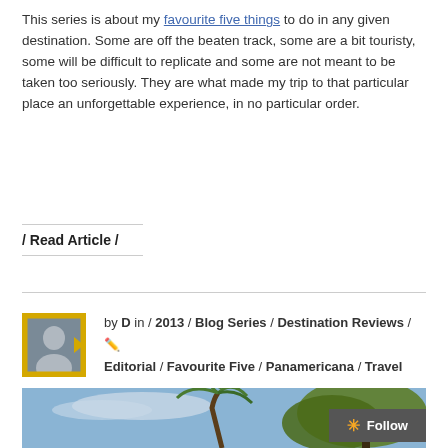This series is about my favourite five things to do in any given destination. Some are off the beaten track, some are a bit touristy, some will be difficult to replicate and some are not meant to be taken too seriously. They are what made my trip to that particular place an unforgettable experience, in no particular order.
/ Read Article /
by D in / 2013 / Blog Series / Destination Reviews / Editorial / Favourite Five / Panamericana / Travel
[Figure (photo): Outdoor photo showing a palm tree and tropical trees against a blue sky with light clouds]